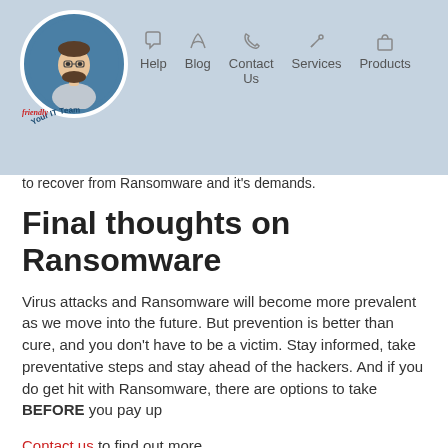Help  Blog  Contact Us  Services  Products
to recover from Ransomware and it's demands.
Final thoughts on Ransomware
Virus attacks and Ransomware will become more prevalent as we move into the future. But prevention is better than cure, and you don't have to be a victim. Stay informed, take preventative steps and stay ahead of the hackers. And if you do get hit with Ransomware, there are options to take BEFORE you pay up
Contact us to find out more
Next up - why your backup strategy matters!